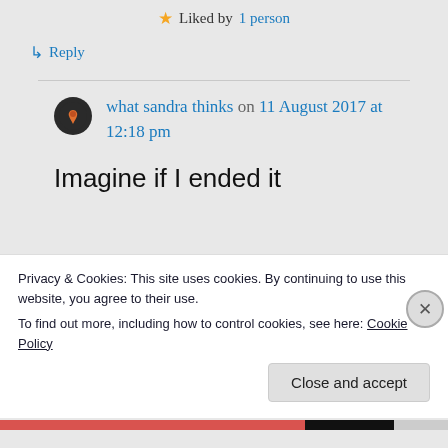★ Liked by 1 person
↳ Reply
what sandra thinks on 11 August 2017 at 12:18 pm
Imagine if I ended it
Privacy & Cookies: This site uses cookies. By continuing to use this website, you agree to their use.
To find out more, including how to control cookies, see here: Cookie Policy